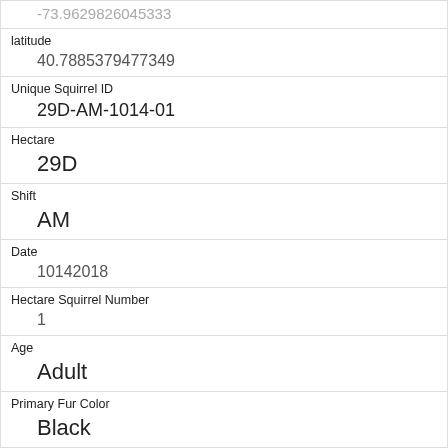|  | -73.9629826045333 |
| latitude | 40.7885379477349 |
| Unique Squirrel ID | 29D-AM-1014-01 |
| Hectare | 29D |
| Shift | AM |
| Date | 10142018 |
| Hectare Squirrel Number | 1 |
| Age | Adult |
| Primary Fur Color | Black |
| Highlight Fur Color |  |
| Combination of Primary and Highlight Color | Black+ |